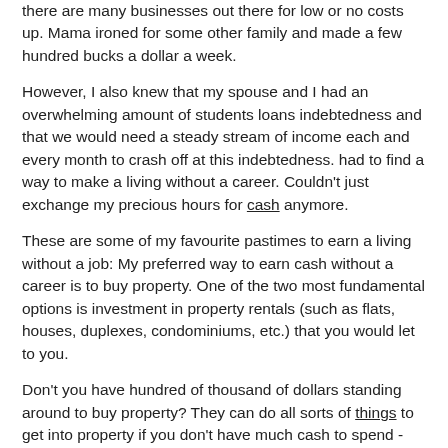there are many businesses out there for low or no costs up. Mama ironed for some other family and made a few hundred bucks a dollar a week.
However, I also knew that my spouse and I had an overwhelming amount of students loans indebtedness and that we would need a steady stream of income each and every month to crash off at this indebtedness. had to find a way to make a living without a career. Couldn't just exchange my precious hours for cash anymore.
These are some of my favourite pastimes to earn a living without a job: My preferred way to earn cash without a career is to buy property. One of the two most fundamental options is investment in property rentals (such as flats, houses, duplexes, condominiums, etc.) that you would let to you.
Don't you have hundred of thousand of dollars standing around to buy property? They can do all sorts of things to get into property if you don't have much cash to spend - from mortgages on your property to investments in massively financed property corporations such as property stocks. Maybe you're not quite prepared to take the leap into more